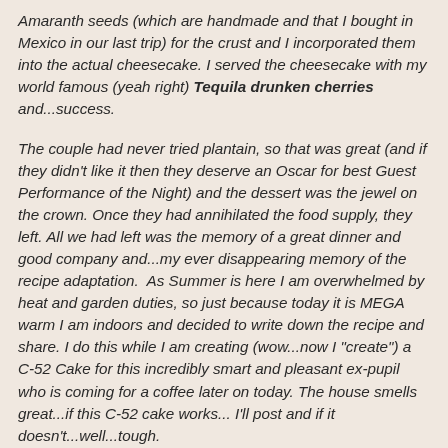Amaranth seeds (which are handmade and that I bought in Mexico in our last trip) for the crust and I incorporated them into the actual cheesecake. I served the cheesecake with my world famous (yeah right) Tequila drunken cherries and...success.
The couple had never tried plantain, so that was great (and if they didn't like it then they deserve an Oscar for best Guest Performance of the Night) and the dessert was the jewel on the crown. Once they had annihilated the food supply, they left. All we had left was the memory of a great dinner and good company and...my ever disappearing memory of the recipe adaptation.  As Summer is here I am overwhelmed by heat and garden duties, so just because today it is MEGA warm I am indoors and decided to write down the recipe and share. I do this while I am creating (wow...now I "create") a C-52 Cake for this incredibly smart and pleasant ex-pupil who is coming for a coffee later on today. The house smells great...if this C-52 cake works... I'll post and if it doesn't...well...tough.
So, here it is. My own recipe of a cheesecake, which I called Mexican because I relate Amaranth seeds with the Country.